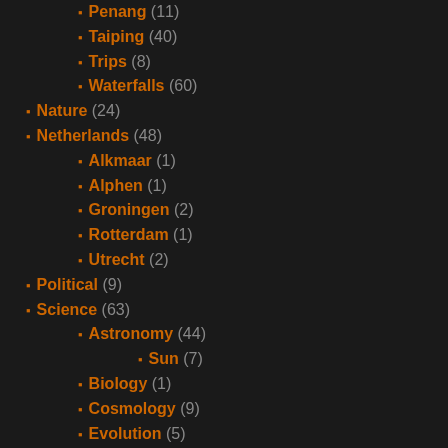Penang (11)
Taiping (40)
Trips (8)
Waterfalls (60)
Nature (24)
Netherlands (48)
Alkmaar (1)
Alphen (1)
Groningen (2)
Rotterdam (1)
Utrecht (2)
Political (9)
Science (63)
Astronomy (44)
Sun (7)
Biology (1)
Cosmology (9)
Evolution (5)
Mathematics (4)
Physics (5)
Space Travel (4)
Spacecraft (7)